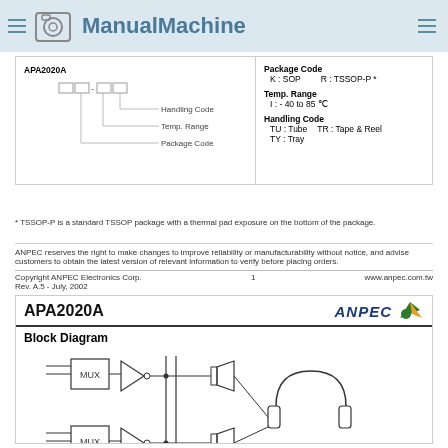ManualMachine
[Figure (schematic): APA2020A ordering code diagram showing part number breakdown with Package Code, Temp. Range, Handling Code fields on left; and code definitions on right (Package Code K:SOP R:TSSOP-P*, Temp. Range I:-40 to 85 C, Handling Code TU:Tube TR:Tape & Reel TY:Tray)]
* TSSOP-P is a standard TSSOP package with a thermal pad exposure on the bottom of the package.
ANPEC reserves the right to make changes to improve reliability or manufacturability without notice, and advise customers to obtain the latest version of relevant information to verify before placing orders.
Copyright ANPEC Electronics Corp.    1    www.anpec.com.tw
Rev. A.5 - July, 2002
APA2020A
Block Diagram
[Figure (circuit-diagram): Block diagram showing two MUX blocks each feeding into buffer/amplifier stages connected to speaker outputs (shown as speaker symbols). At the bottom are MUX and SE/BTL control blocks with upward arrows. On the right is a headphone symbol. Both amplifier outputs connect through a bridge topology.]